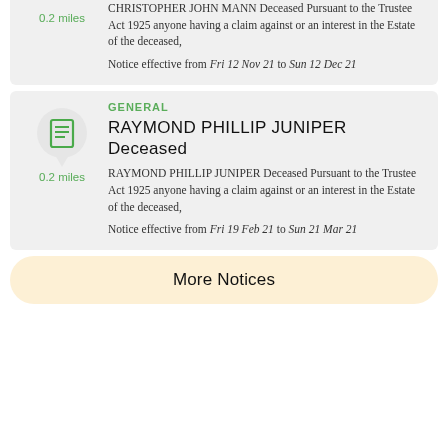CHRISTOPHER JOHN MANN Deceased Pursuant to the Trustee Act 1925 anyone having a claim against or an interest in the Estate of the deceased,
Notice effective from Fri 12 Nov 21 to Sun 12 Dec 21
0.2 miles
GENERAL
RAYMOND PHILLIP JUNIPER Deceased
RAYMOND PHILLIP JUNIPER Deceased Pursuant to the Trustee Act 1925 anyone having a claim against or an interest in the Estate of the deceased,
0.2 miles
Notice effective from Fri 19 Feb 21 to Sun 21 Mar 21
More Notices